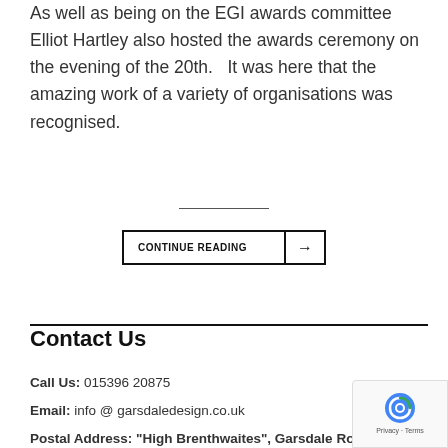As well as being on the EGI awards committee Elliot Hartley also hosted the awards ceremony on the evening of the 20th.   It was here that the amazing work of a variety of organisations was recognised.
CONTINUE READING →
Contact Us
Call Us: 015396 20875
Email: info @ garsdaledesign.co.uk
Postal Address: "High Brenthwaites", Garsdale Road...